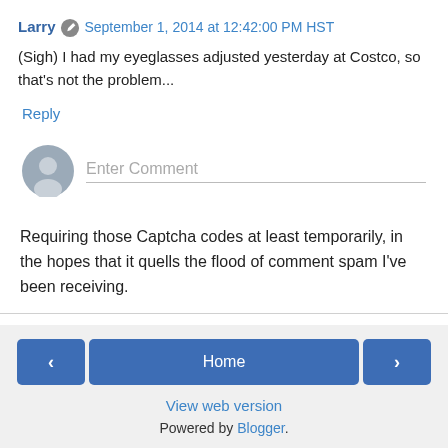Larry  September 1, 2014 at 12:42:00 PM HST
(Sigh) I had my eyeglasses adjusted yesterday at Costco, so that's not the problem...
Reply
[Figure (other): Comment input box with user avatar and Enter Comment placeholder text]
Requiring those Captcha codes at least temporarily, in the hopes that it quells the flood of comment spam I've been receiving.
< Home > View web version Powered by Blogger.